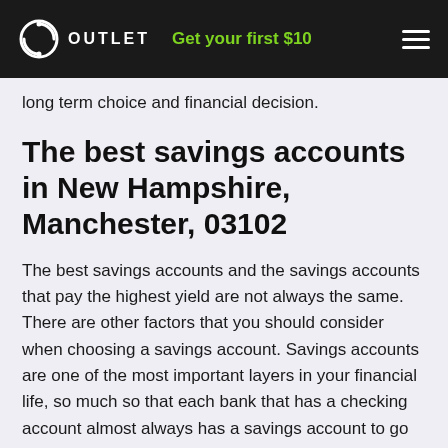OUTLET | Get your first $10
long term choice and financial decision.
The best savings accounts in New Hampshire, Manchester, 03102
The best savings accounts and the savings accounts that pay the highest yield are not always the same. There are other factors that you should consider when choosing a savings account. Savings accounts are one of the most important layers in your financial life, so much so that each bank that has a checking account almost always has a savings account to go with it. People who use their